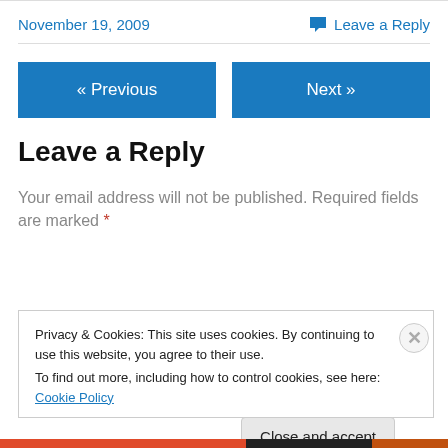November 19, 2009
Leave a Reply
« Previous
Next »
Leave a Reply
Your email address will not be published. Required fields are marked *
Privacy & Cookies: This site uses cookies. By continuing to use this website, you agree to their use.
To find out more, including how to control cookies, see here: Cookie Policy
Close and accept